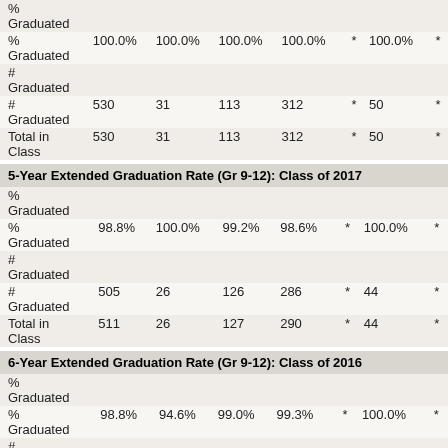|  | Total | Col1 | Col2 | Col3 | Col4 | Col5 | Col6 |
| --- | --- | --- | --- | --- | --- | --- | --- |
| % Graduated |  |  |  |  |  |  |  |
| % Graduated | 100.0% | 100.0% | 100.0% | 100.0% | * | 100.0% | * |
| # Graduated |  |  |  |  |  |  |  |
| # Graduated | 530 | 31 | 113 | 312 | * | 50 | * |
| Total in Class | 530 | 31 | 113 | 312 | * | 50 | * |
5-Year Extended Graduation Rate (Gr 9-12): Class of 2017
|  | Total | Col1 | Col2 | Col3 | Col4 | Col5 | Col6 |
| --- | --- | --- | --- | --- | --- | --- | --- |
| % Graduated |  |  |  |  |  |  |  |
| % Graduated | 98.8% | 100.0% | 99.2% | 98.6% | * | 100.0% | * |
| # Graduated |  |  |  |  |  |  |  |
| # Graduated | 505 | 26 | 126 | 286 | * | 44 | * |
| Total in Class | 511 | 26 | 127 | 290 | * | 44 | * |
6-Year Extended Graduation Rate (Gr 9-12): Class of 2016
|  | Total | Col1 | Col2 | Col3 | Col4 | Col5 | Col6 |
| --- | --- | --- | --- | --- | --- | --- | --- |
| % Graduated |  |  |  |  |  |  |  |
| % Graduated | 98.8% | 94.6% | 99.0% | 99.3% | * | 100.0% | * |
| # Graduated |  |  |  |  |  |  |  |
| # Graduated | 498 | 35 | 103 | 296 | * | 46 | * |
| Total in Class | 504 | 37 | 104 | 298 | * | 46 | * |
Annual Dropout Rate (Gr 9-12): SY 2017-18
|  | Total | Col1 | Col2 | Col3 | Col4 | Col5 | Col6 |
| --- | --- | --- | --- | --- | --- | --- | --- |
| % Dropped Out | 0.1% | 0.0% | 0.2% | 0.0% | * | 0.0% | 0.0% |
| % |  |  |  |  |  |  |  |